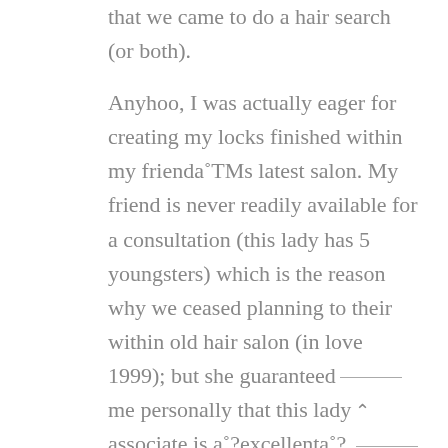that we came to do a hair search (or both).
Anyhoo, I was actually eager for creating my locks finished within my frienda˞TMs latest salon. My friend is never readily available for a consultation (this lady has 5 youngsters) which is the reason why we ceased planning to their within old hair salon (in love 1999); but she guaranteed me personally that this lady associate is a˞?excellenta˞?, therefore I trustworthy this lady. Alright plus, I absolutely